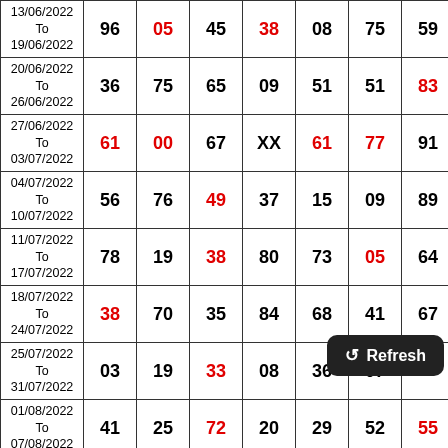| Date | Col1 | Col2 | Col3 | Col4 | Col5 | Col6 | Col7 |
| --- | --- | --- | --- | --- | --- | --- | --- |
| 13/06/2022 To 19/06/2022 | 96 | 05 | 45 | 38 | 08 | 75 | 59 |
| 20/06/2022 To 26/06/2022 | 36 | 75 | 65 | 09 | 51 | 51 | 83 |
| 27/06/2022 To 03/07/2022 | 61 | 00 | 67 | XX | 61 | 77 | 91 |
| 04/07/2022 To 10/07/2022 | 56 | 76 | 49 | 37 | 15 | 09 | 89 |
| 11/07/2022 To 17/07/2022 | 78 | 19 | 38 | 80 | 73 | 05 | 64 |
| 18/07/2022 To 24/07/2022 | 38 | 70 | 35 | 84 | 68 | 41 | 67 |
| 25/07/2022 To 31/07/2022 | 03 | 19 | 33 | 08 | 36 | 07 | ??? |
| 01/08/2022 To 07/08/2022 | 41 | 25 | 72 | 20 | 29 | 52 | 55 |
| 08/08/2022 |  |  |  |  |  |  |  |